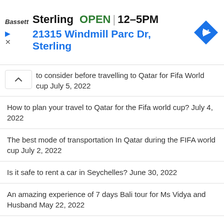[Figure (screenshot): Advertisement banner: Bassett brand, Sterling location OPEN 12-5PM, address 21315 Windmill Parc Dr Sterling, navigation arrow icon]
to consider before travelling to Qatar for Fifa World cup July 5, 2022
How to plan your travel to Qatar for the Fifa world cup? July 4, 2022
The best mode of transportation In Qatar during the FIFA world cup July 2, 2022
Is it safe to rent a car in Seychelles? June 30, 2022
An amazing experience of 7 days Bali tour for Ms Vidya and Husband May 22, 2022
Travel business Process outsourcing May 11, 2022
Covid PCR test in Bali May 11, 2022
Cab from Mahe Airport to hotel May 10, 2022